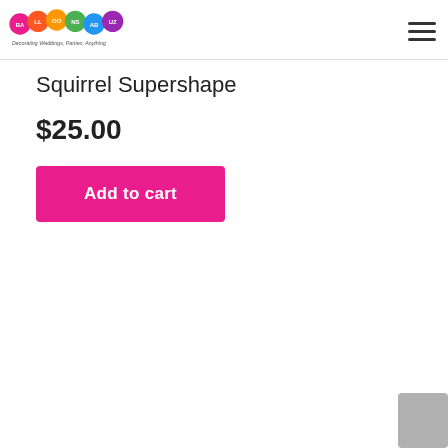[Figure (logo): Balloons Abuzz logo with colorful balloons and tagline 'Decorating Weddings, Parties, Anything']
Squirrel Supershape
$25.00
Add to cart